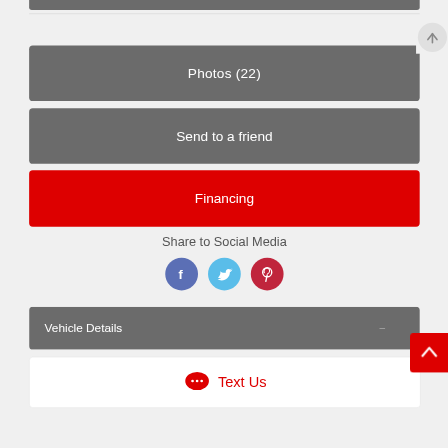[Figure (screenshot): Gray button labeled Photos (22)]
[Figure (screenshot): Gray button labeled Send to a friend]
[Figure (screenshot): Red button labeled Financing]
Share to Social Media
[Figure (infographic): Social media icons: Facebook (blue-gray circle), Twitter (light blue circle), Pinterest (dark red circle)]
Vehicle Details
[Figure (screenshot): White panel with red chat bubble icon and Text Us label in red]